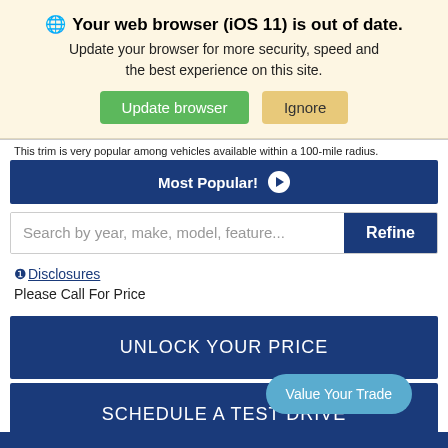🌐 Your web browser (iOS 11) is out of date.
Update your browser for more security, speed and the best experience on this site.
Update browser   Ignore
This trim is very popular among vehicles available within a 100-mile radius.
Most Popular!
Search by year, make, model, feature...
Refine
❶Disclosures
Please Call For Price
UNLOCK YOUR PRICE
SCHEDULE A TEST DRIVE
Value Your Trade